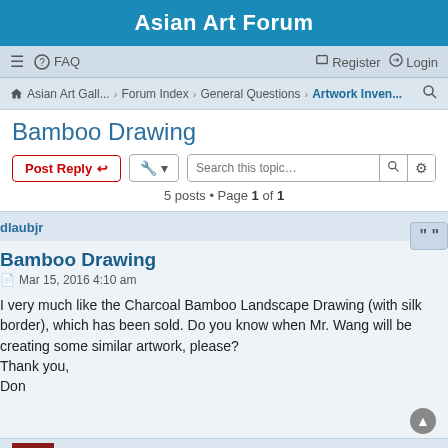Asian Art Forum
≡   FAQ   Register   Login
Asian Art Gall... · Forum Index · General Questions · Artwork Inven...
Bamboo Drawing
Post Reply   🔧 ▾   Search this topic...
5 posts • Page 1 of 1
dlaubjr
Bamboo Drawing
Mar 15, 2016 4:10 am
I very much like the Charcoal Bamboo Landscape Drawing (with silk border), which has been sold. Do you know when Mr. Wang will be creating some similar artwork, please?
Thank you,
Don
Gary
The Boss